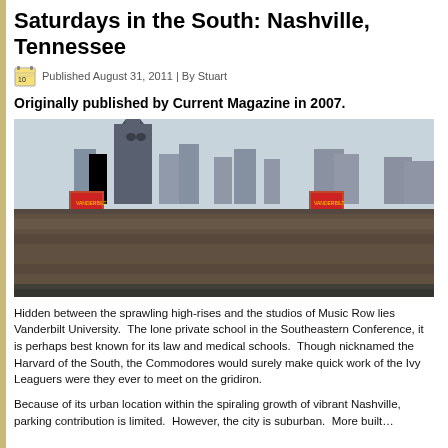Saturdays in the South: Nashville, Tennessee
Published August 31, 2011 | By Stuart
Originally published by Current Magazine in 2007.
[Figure (photo): Packed football stadium stands filled with crowds, with Nashville city skyline including the distinctive AT&T Batman building visible in the background, along with two large scoreboard/jumbotron structures on red/orange support frames.]
Hidden between the sprawling high-rises and the studios of Music Ro... University. The lone private school in the Southeastern Conference, for its law and medical schools. Though nicknamed the Harvard of th... Commodores would surely make quick work of the Ivy Leaguers were on the gridiron.
Because of its urban location within the spiraling growth of vibrant Na... tribution is limited. However, the city is suburban. More built...